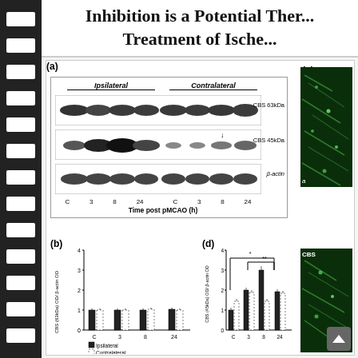Inhibition is a Potential Therapeutic Treatment of Ische...
[Figure (other): Western blot panel (a) showing CBS 63kDa, CBS 45kDa, and β-actin bands for Ipsilateral and Contralateral conditions at time points C, 3, 8, 24 hours post pMCAO]
[Figure (other): Fluorescence microscopy image panel (c) showing green-stained cells on dark background]
[Figure (grouped-bar-chart): CBS (63kDa) OD / β-actin OD]
[Figure (grouped-bar-chart): CBS (45kDa) OD / β-actin OD]
[Figure (other): Fluorescence microscopy image panel (d) showing CBS-labeled green-stained cells on dark background with label CBS]